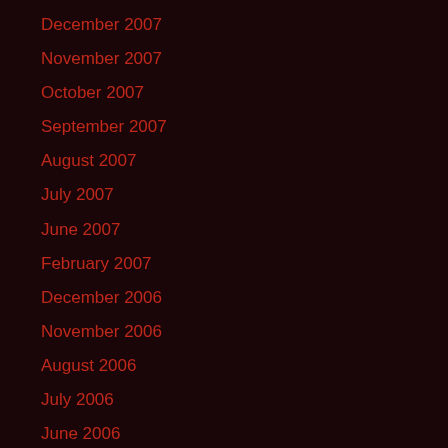December 2007
November 2007
October 2007
September 2007
August 2007
July 2007
June 2007
February 2007
December 2006
November 2006
August 2006
July 2006
June 2006
May 2006
April 2006